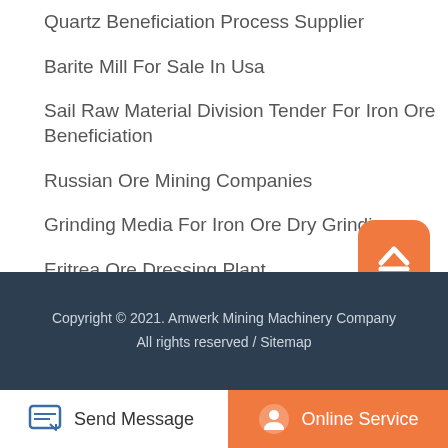Quartz Beneficiation Process Supplier
Barite Mill For Sale In Usa
Sail Raw Material Division Tender For Iron Ore Beneficiation
Russian Ore Mining Companies
Grinding Media For Iron Ore Dry Grinding
Eritrea Ore Dressing Plant
Gold Mining Project Machines Process
Iron Ore Processing Flow Charts
Copyright © 2021. Amwerk Mining Machinery Company All rights reserved / Sitemap